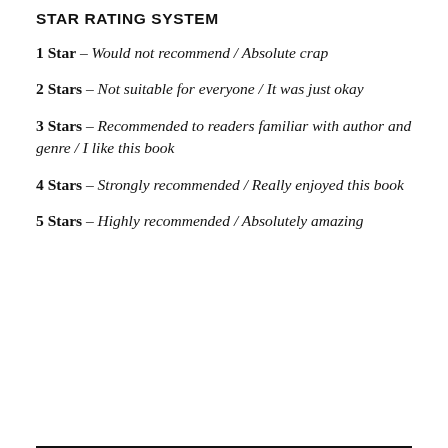STAR RATING SYSTEM
1 Star - Would not recommend / Absolute crap
2 Stars - Not suitable for everyone / It was just okay
3 Stars - Recommended to readers familiar with author and genre / I like this book
4 Stars - Strongly recommended / Really enjoyed this book
5 Stars - Highly recommended / Absolutely amazing